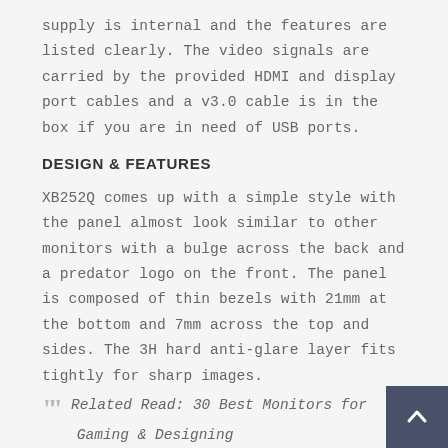supply is internal and the features are listed clearly. The video signals are carried by the provided HDMI and display port cables and a v3.0 cable is in the box if you are in need of USB ports.
DESIGN & FEATURES
XB252Q comes up with a simple style with the panel almost look similar to other monitors with a bulge across the back and a predator logo on the front. The panel is composed of thin bezels with 21mm at the bottom and 7mm across the top and sides. The 3H hard anti-glare layer fits tightly for sharp images.
Related Read: 30 Best Monitors for Gaming & Designing